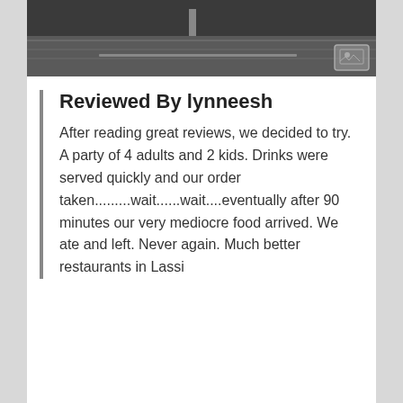[Figure (photo): Dark interior restaurant photo showing seating area]
Reviewed By lynneesh
After reading great reviews, we decided to try. A party of 4 adults and 2 kids. Drinks were served quickly and our order taken.........wait......wait....eventually after 90 minutes our very mediocre food arrived. We ate and left. Never again. Much better restaurants in Lassi
Top 10 Grill food in Lassi, Ionian Islands, Greece